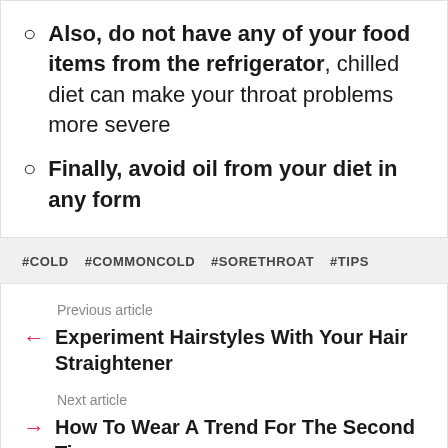Also, do not have any of your food items from the refrigerator, chilled diet can make your throat problems more severe
Finally, avoid oil from your diet in any form
#COLD  #COMMONCOLD  #SORETHROAT  #TIPS
Previous article
Experiment Hairstyles With Your Hair Straightener
Next article
How To Wear A Trend For The Second Time